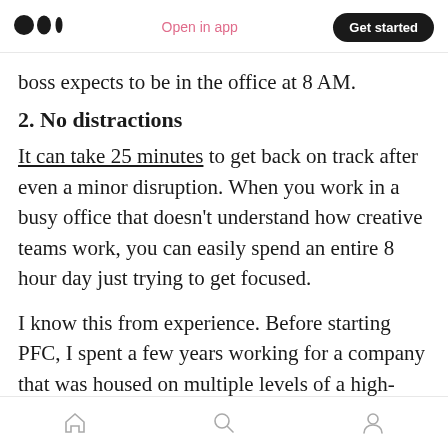Medium logo | Open in app | Get started
boss expects to be in the office at 8 AM.
2. No distractions
It can take 25 minutes to get back on track after even a minor disruption. When you work in a busy office that doesn't understand how creative teams work, you can easily spend an entire 8 hour day just trying to get focused.
I know this from experience. Before starting PFC, I spent a few years working for a company that was housed on multiple levels of a high-rise. For the first few years, the content team sat happily